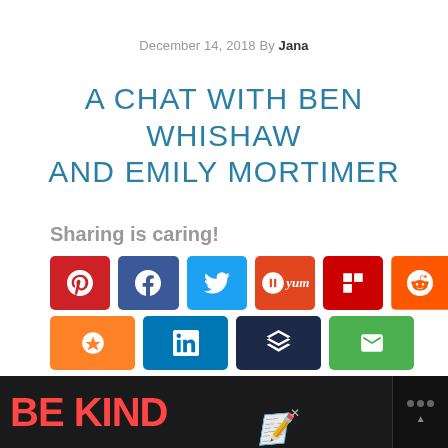December 14, 2018 By Jana
A CHAT WITH BEN WHISHAW AND EMILY MORTIMER
Sharing is caring!
[Figure (infographic): Social sharing buttons: Pinterest, Facebook, Twitter, Yummly, Flipboard, Reddit (row 1); Mix, LinkedIn, Buffer, Email (row 2). Floating heart/share icons and a count of 4 on the right side.]
[Figure (infographic): What's Next widget showing a thumbnail image and text: WHAT'S NEXT → Kubo and the Two Strings...]
[Figure (infographic): Bottom advertisement bar with dark background showing 'BE KIND' text in red and decorative script lettering, with a close button and branding logo dots on the right.]